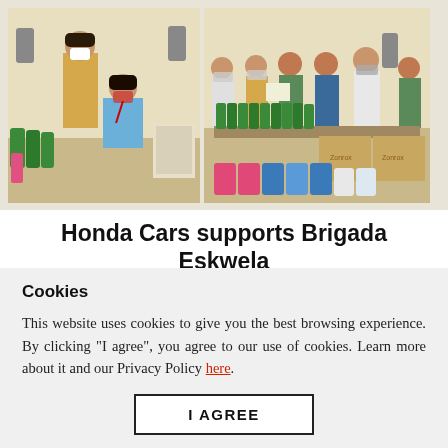[Figure (photo): Two side-by-side photos: left photo shows a woman in a mask standing behind a seated woman in a mask at a table with green cleaning bottles; right photo shows a group of people standing behind a table with cleaning supplies, green bottles, pink and blue jugs, and cardboard boxes labeled Zonrox.]
Honda Cars supports Brigada Eskwela
Cookies
This website uses cookies to give you the best browsing experience. By clicking "I agree", you agree to our use of cookies. Learn more about it and our Privacy Policy here.
I AGREE